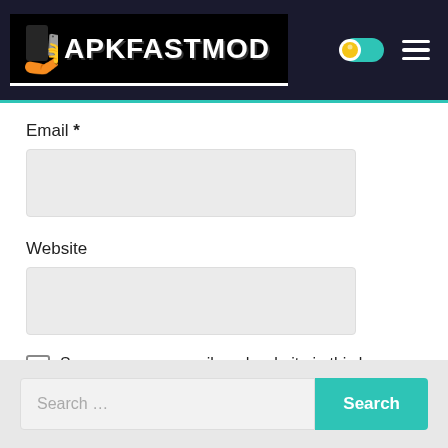[Figure (logo): APKFASTMOD website logo on dark background with teal underline, toggle switch and hamburger menu icons on the right]
Email *
Website
Save my name, email, and website in this browser for the next time I comment.
Post Comment
Search …
Search